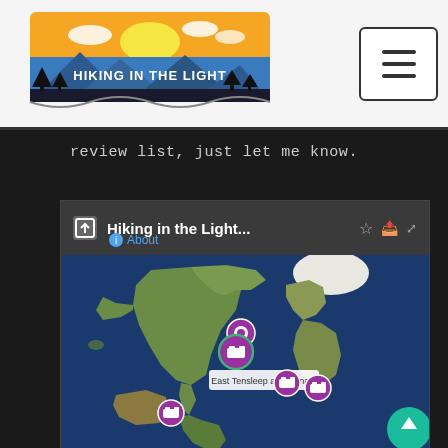[Figure (logo): Hiking in the Light logo with mountain sunset illustration and text 'HIKING IN THE LIGHT']
[Figure (other): Hamburger/menu button icon in top right corner]
review list, just let me know.
[Figure (map): Google My Maps embed showing world map with purple location markers. Title: 'Hiking in the Light...'. Markers visible around North America/Wyoming area labeled 'East Tensleep and Unna...' and additional markers in South America and Pacific regions. Teal scroll-to-top button in bottom right.]